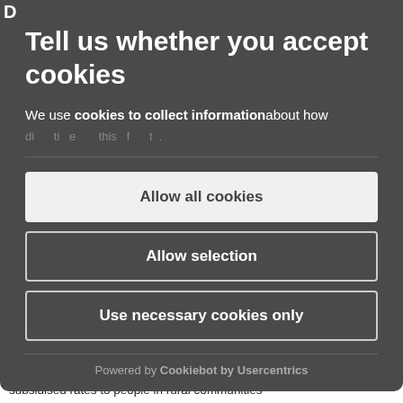subsidised rates to people in rural communities
Tell us whether you accept cookies
We use cookies to collect information about how …
Allow all cookies
Allow selection
Use necessary cookies only
Powered by Cookiebot by Usercentrics